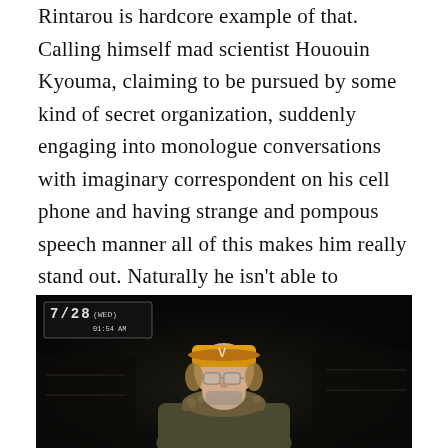Rintarou is hardcore example of that. Calling himself mad scientist Hououin Kyouma, claiming to be pursued by some kind of secret organization, suddenly engaging into monologue conversations with imaginary correspondent on his cell phone and having strange and pompous speech manner all of this makes him really stand out. Naturally he isn't able to maintain his mad scientists persona all the time and his true personality occasionally shows up and when faced with adamant unwillingness to communicate with it or in dire situations it completely cracks up. Such “dual” personality makes him really interesting and fun character to follow after.
[Figure (screenshot): Anime-style video game screenshot showing a character wearing an orange cap and glasses with fur-trimmed collar, on a dark background. HUD overlay in top-left shows date 7/28 (WED) and time.]